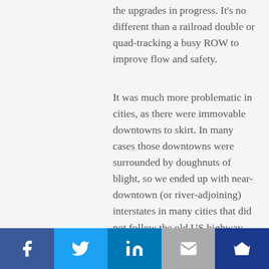the upgrades in progress. It's no different than a railroad double or quad-tracking a busy ROW to improve flow and safety.
It was much more problematic in cities, as there were immovable downtowns to skirt. In many cases those downtowns were surrounded by doughnuts of blight, so we ended up with near-downtown (or river-adjoining) interstates in many cities that did not follow the old US highway routes so closely.
I went too far in suggesting "the hive". I'm an economist and should have just stuck with "…
Facebook | Twitter | LinkedIn | Email | Crown